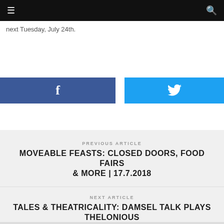≡  🔍
next Tuesday, July 24th.
[Figure (other): Facebook and Twitter share buttons]
PREVIOUS ARTICLE
MOVEABLE FEASTS: CLOSED DOORS, FOOD FAIRS & MORE | 17.7.2018
NEXT ARTICLE
TALES & THEATRICALITY: DAMSEL TALK PLAYS THELONIOUS